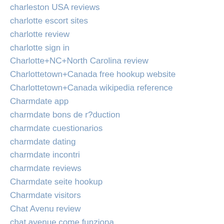charleston USA reviews
charlotte escort sites
charlotte review
charlotte sign in
Charlotte+NC+North Carolina review
Charlottetown+Canada free hookup website
Charlottetown+Canada wikipedia reference
Charmdate app
charmdate bons de r?duction
charmdate cuestionarios
charmdate dating
charmdate incontri
charmdate reviews
Charmdate seite hookup
Charmdate visitors
Chat Avenu review
chat avenue come funziona
Chat Avenue dating